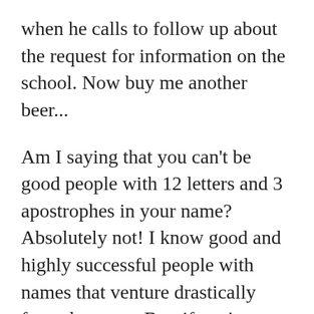when he calls to follow up about the request for information on the school. Now buy me another beer...
Am I saying that you can't be good people with 12 letters and 3 apostrophes in your name? Absolutely not! I know good and highly successful people with names that venture drastically from the norm. But, if you're going to name your child something that looks like the cat fell asleep on the keyboard while Microsoft Word was still open I only ask that you start that child reading and writing at a young age, you stay on his/her ass in their